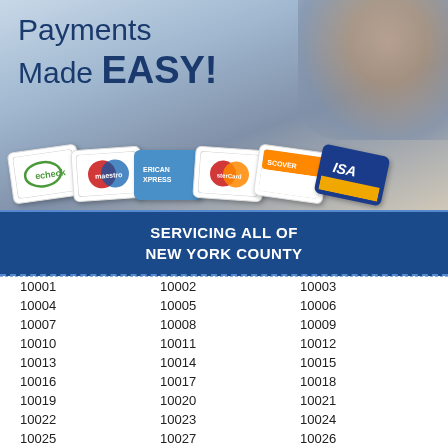[Figure (illustration): Banner with payment cards (echeck, Maestro, American Express, MasterCard, Discover, Visa) and text 'Payments Made EASY!' with person in background]
SERVICING ALL OF NEW YORK COUNTY
| 10001 | 10002 | 10003 |
| 10004 | 10005 | 10006 |
| 10007 | 10008 | 10009 |
| 10010 | 10011 | 10012 |
| 10013 | 10014 | 10015 |
| 10016 | 10017 | 10018 |
| 10019 | 10020 | 10021 |
| 10022 | 10023 | 10024 |
| 10025 | 10027 | 10026 |
| 10028 | 10029 | 10030 |